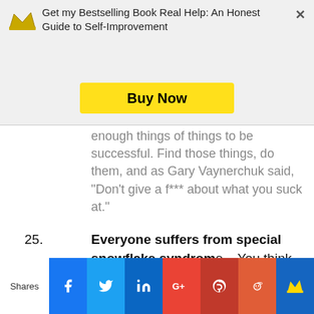Get my Bestselling Book Real Help: An Honest Guide to Self-Improvement
enough things of things to be successful. Find those things, do them, and as Gary Vaynerchuk said, “Don’t give a f*** about what you suck at.”
25. Everyone suffers from special snowflake syndrome – You think good things are supposed to happen to you because you are you. We believe that if something goes wrong, we
Shares | Facebook | Twitter | LinkedIn | Google+ | Pocket | Reddit | Crown